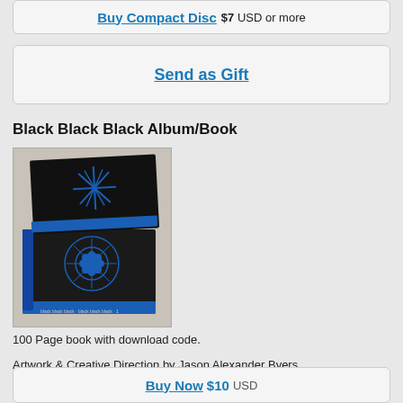Buy Compact Disc $7 USD or more
Send as Gift
Black Black Black Album/Book
[Figure (photo): Photo of Black Black Black album/book — two black hardcover books with blue geometric/snowflake designs on covers, stacked at an angle on a light surface.]
100 Page book with download code.
Artwork & Creative Direction by Jason Alexander Byers
Illustration & Design by METIVE
Includes unlimited streaming of Black Black Black via the free Bandcamp app, plus high-quality download in MP3, FLAC and more.
ships out within 7 days
Buy Now $10 USD